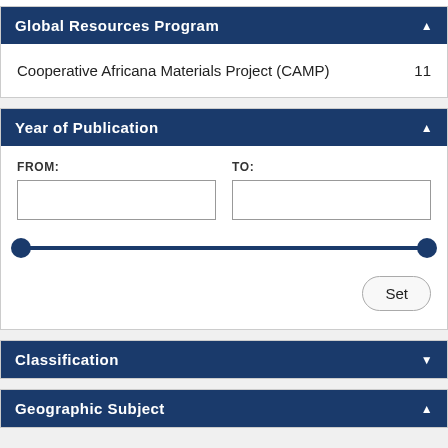Global Resources Program ▲
Cooperative Africana Materials Project (CAMP)    11
Year of Publication ▲
FROM:
TO:
Classification ▼
Geographic Subject ▲